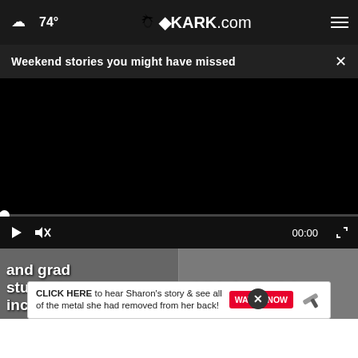74° KARK.com
Weekend stories you might have missed
[Figure (screenshot): Black video player with playback controls showing 00:00 timestamp, play button, mute icon, progress bar with dot indicator, and fullscreen button on dark control bar]
and grad students inc
child: A special birthday
CLICK HERE to hear Sharon's story & see all of the metal she had removed from her back! WATCH NOW